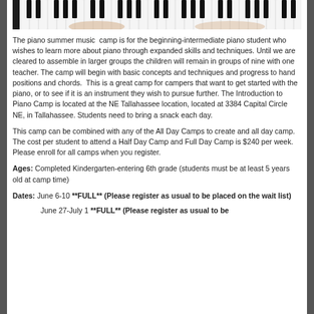[Figure (photo): Hands playing a piano keyboard, close-up strip image showing black and white keys with hands resting on them]
The piano summer music camp is for the beginning-intermediate piano student who wishes to learn more about piano through expanded skills and techniques. Until we are cleared to assemble in larger groups the children will remain in groups of nine with one teacher. The camp will begin with basic concepts and techniques and progress to hand positions and chords. This is a great camp for campers that want to get started with the piano, or to see if it is an instrument they wish to pursue further. The Introduction to Piano Camp is located at the NE Tallahassee location, located at 3384 Capital Circle NE, in Tallahassee. Students need to bring a snack each day.
This camp can be combined with any of the All Day Camps to create and all day camp. The cost per student to attend a Half Day Camp and Full Day Camp is $240 per week. Please enroll for all camps when you register.
Ages: Completed Kindergarten-entering 6th grade (students must be at least 5 years old at camp time)
Dates: June 6-10 **FULL** (Please register as usual to be placed on the wait list)
June 27-July 1 **FULL** (Please register as usual to be